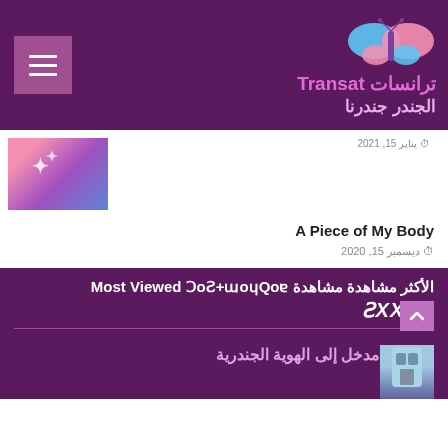[Figure (logo): Transat website header with butterfly logo, Arabic and English site name]
يناير 15, 2021
[Figure (illustration): Abstract colorful illustration with pink and purple shapes]
A Piece of My Body
ديسمبر 15, 2020
الأكثر مشاهدة مشاهدة Most Viewed ƆoƧ+ɯoɥQoɐ
ƧXXoO
مدخل إلى الهوية الجندرية